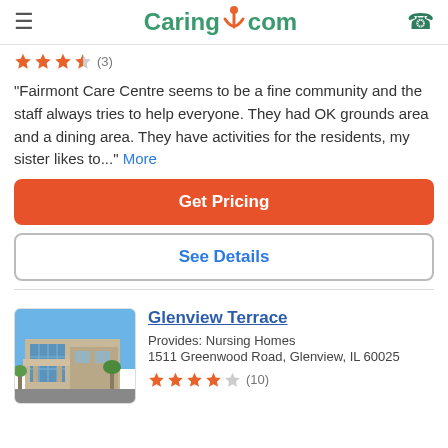Caring.com
★★★½ (3)
"Fairmont Care Centre seems to be a fine community and the staff always tries to help everyone. They had OK grounds area and a dining area. They have activities for the residents, my sister likes to..." More
Get Pricing
See Details
Glenview Terrace
Provides: Nursing Homes
1511 Greenwood Road, Glenview, IL 60025
★★★★☆ (10)